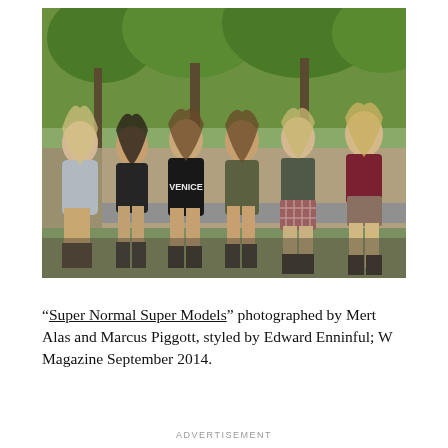[Figure (photo): Six young women (models) seated outdoors on a stone bench, surrounded by green trees and foliage. They wear casual fashion including hoodies, leather jackets, skirts, and boots. One wears a black hoodie with 'VENICE' printed on it.]
“Super Normal Super Models” photographed by Mert Alas and Marcus Piggott, styled by Edward Enninful; W Magazine September 2014.
ADVERTISEMENT